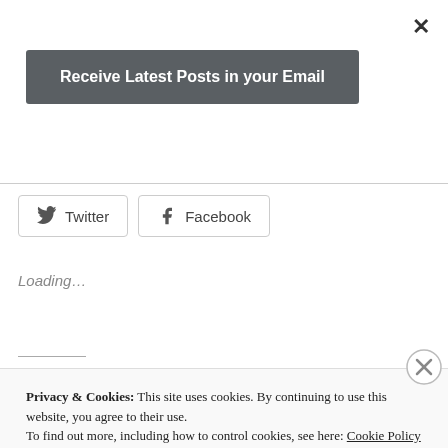[Figure (screenshot): Close button X in top right corner]
Receive Latest Posts in your Email
[Figure (screenshot): Twitter and Facebook social share buttons]
Loading...
Privacy & Cookies: This site uses cookies. By continuing to use this website, you agree to their use.
To find out more, including how to control cookies, see here: Cookie Policy
Close and accept